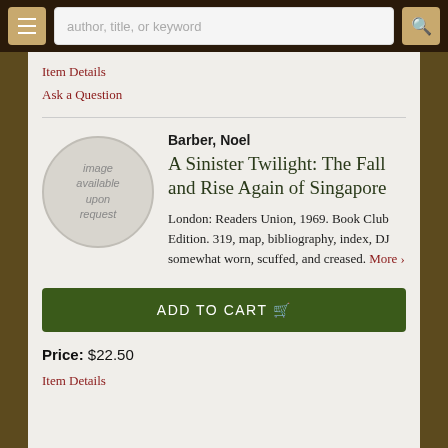author, title, or keyword
Item Details
Ask a Question
[Figure (illustration): Circular placeholder image with text 'image available upon request']
Barber, Noel
A Sinister Twilight: The Fall and Rise Again of Singapore
London: Readers Union, 1969. Book Club Edition. 319, map, bibliography, index, DJ somewhat worn, scuffed, and creased. More ›
ADD TO CART
Price: $22.50
Item Details